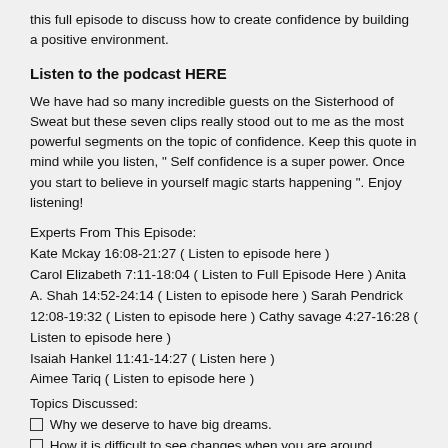this full episode to discuss how to create confidence by building a positive environment.
Listen to the podcast HERE
We have had so many incredible guests on the Sisterhood of Sweat but these seven clips really stood out to me as the most powerful segments on the topic of confidence. Keep this quote in mind while you listen, " Self confidence is a super power. Once you start to believe in yourself magic starts happening ". Enjoy listening!
Experts From This Episode:
Kate Mckay 16:08-21:27 ( Listen to episode here )
Carol Elizabeth 7:11-18:04 ( Listen to Full Episode Here ) Anita A. Shah 14:52-24:14 ( Listen to episode here ) Sarah Pendrick 12:08-19:32 ( Listen to episode here ) Cathy savage 4:27-16:28 ( Listen to episode here )
Isaiah Hankel 11:41-14:27 ( Listen here )
Aimee Tariq ( Listen to episode here )
Topics Discussed:
Why we deserve to have big dreams.
How it is difficult to see changes when you are around negativity. When to completely remove yourself from a toxic relationship.
Quotes from the show: